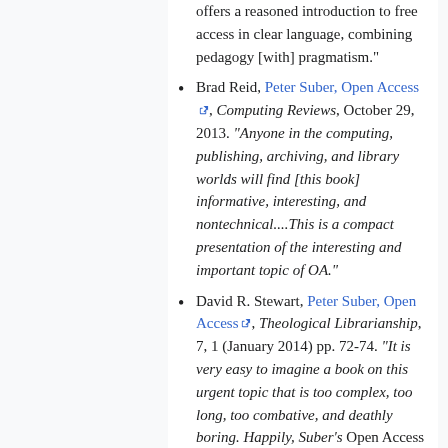offers a reasoned introduction to free access in clear language, combining pedagogy [with] pragmatism."
Brad Reid, Peter Suber, Open Access, Computing Reviews, October 29, 2013. "Anyone in the computing, publishing, archiving, and library worlds will find [this book] informative, interesting, and nontechnical....This is a compact presentation of the interesting and important topic of OA."
David R. Stewart, Peter Suber, Open Access, Theological Librarianship, 7, 1 (January 2014) pp. 72-74. "It is very easy to imagine a book on this urgent topic that is too complex, too long, too combative, and deathly boring. Happily, Suber's Open Access is none of these things. He